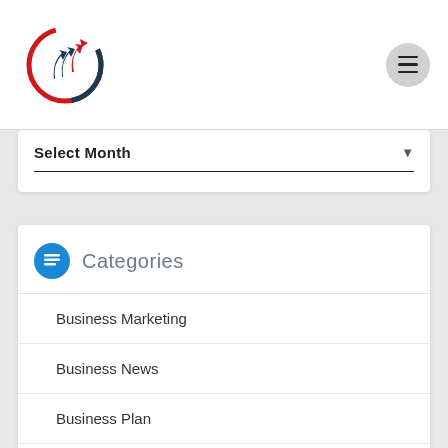[Figure (logo): Business logo with circular arrows in red and dark blue/teal, with upward trending arrows inside a circular design]
Select Month
Categories
Business Marketing
Business News
Business Plan
Business Strategy